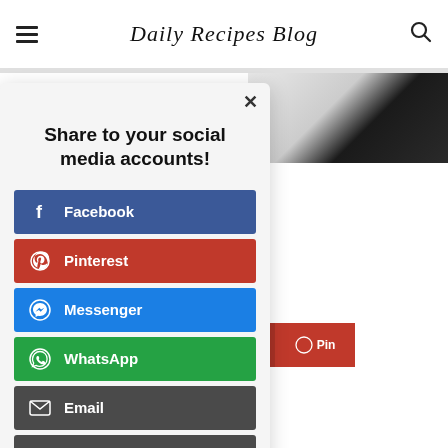Daily Recipes Blog
Share to your social media accounts!
Facebook
Pinterest
Messenger
WhatsApp
Email
Print